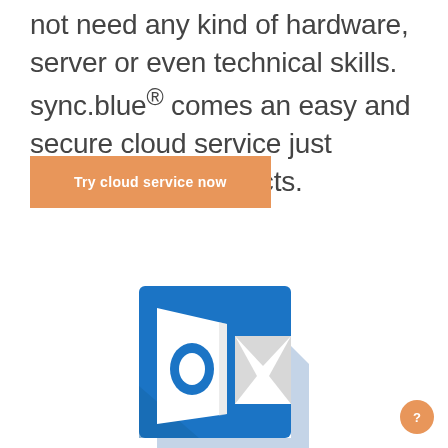not need any kind of hardware, server or even technical skills. sync.blue® comes an easy and secure cloud service just syncing your contacts.
Try cloud service now
[Figure (logo): Microsoft Outlook logo icon — blue square background with white open-book/envelope shape and blue letter O, with a white envelope overlapping on the right side and a shadow effect]